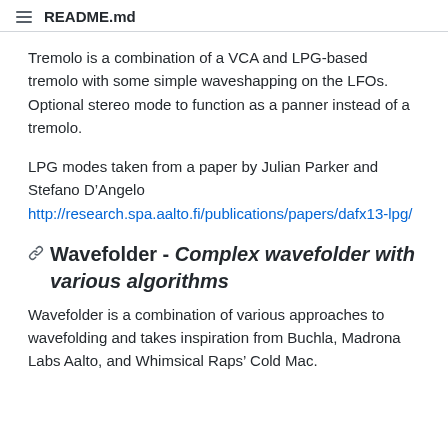README.md
Tremolo is a combination of a VCA and LPG-based tremolo with some simple waveshapping on the LFOs. Optional stereo mode to function as a panner instead of a tremolo.
LPG modes taken from a paper by Julian Parker and Stefano D’Angelo http://research.spa.aalto.fi/publications/papers/dafx13-lpg/
Wavefolder - Complex wavefolder with various algorithms
Wavefolder is a combination of various approaches to wavefolding and takes inspiration from Buchla, Madrona Labs Aalto, and Whimsical Raps’ Cold Mac.